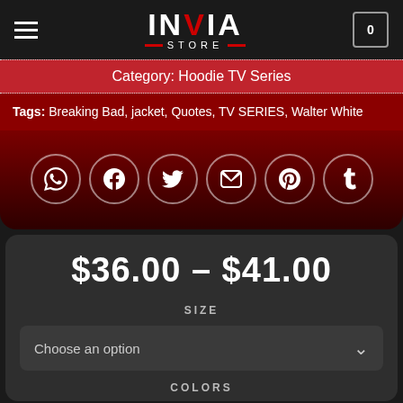[Figure (logo): INVIA STORE logo in white and red on dark background]
Category: Hoodie TV Series
Tags: Breaking Bad, jacket, Quotes, TV SERIES, Walter White
[Figure (infographic): Six social media share icons in circular borders: WhatsApp, Facebook, Twitter, Email, Pinterest, Tumblr]
$36.00 – $41.00
SIZE
Choose an option
COLORS